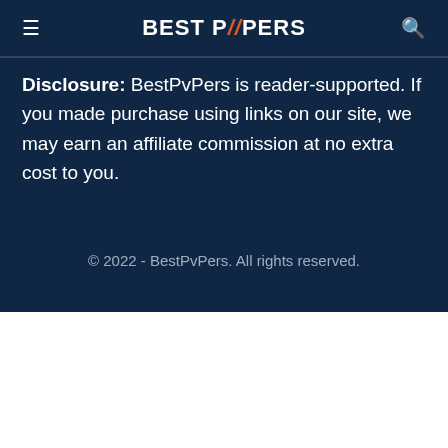≡  BEST PVPERS  🔍
Disclosure: BestPvPers is reader-supported. If you made purchase using links on our site, we may earn an affiliate commission at no extra cost to you.
© 2022 - BestPvPers. All rights reserved.